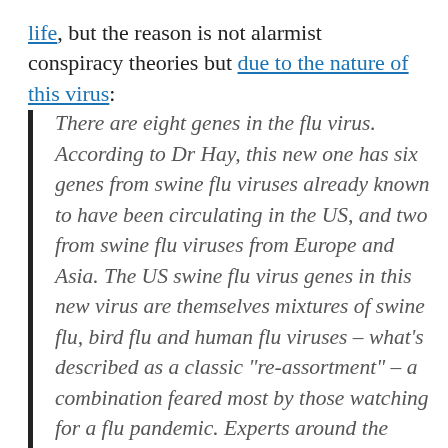life, but the reason is not alarmist conspiracy theories but due to the nature of this virus:
There are eight genes in the flu virus. According to Dr Hay, this new one has six genes from swine flu viruses already known to have been circulating in the US, and two from swine flu viruses from Europe and Asia. The US swine flu virus genes in this new virus are themselves mixtures of swine flu, bird flu and human flu viruses – what's described as a classic "re-assortment" – a combination feared most by those watching for a flu pandemic. Experts around the world have been warning